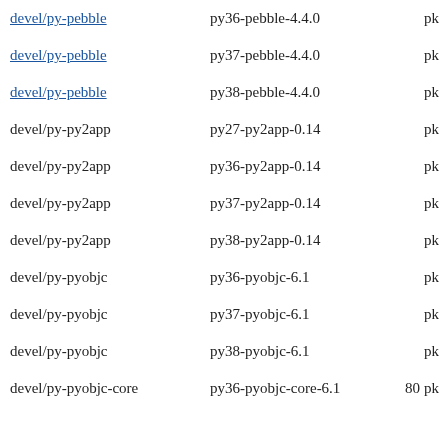| devel/py-pebble | py36-pebble-4.4.0 |  | pk |
| devel/py-pebble | py37-pebble-4.4.0 |  | pk |
| devel/py-pebble | py38-pebble-4.4.0 |  | pk |
| devel/py-py2app | py27-py2app-0.14 |  | pk |
| devel/py-py2app | py36-py2app-0.14 |  | pk |
| devel/py-py2app | py37-py2app-0.14 |  | pk |
| devel/py-py2app | py38-py2app-0.14 |  | pk |
| devel/py-pyobjc | py36-pyobjc-6.1 |  | pk |
| devel/py-pyobjc | py37-pyobjc-6.1 |  | pk |
| devel/py-pyobjc | py38-pyobjc-6.1 |  | pk |
| devel/py-pyobjc-core | py36-pyobjc-core-6.1 | 80 | pk |